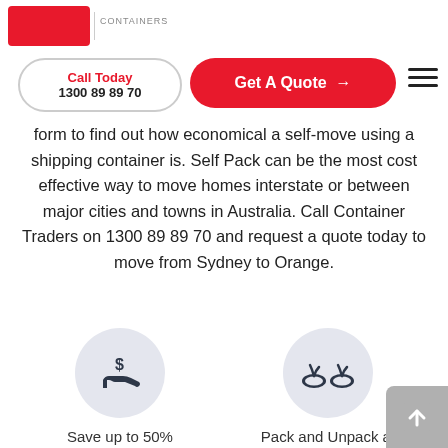Call Today 1300 89 89 70 | Get A Quote →
form to find out how economical a self-move using a shipping container is. Self Pack can be the most cost effective way to move homes interstate or between major cities and towns in Australia. Call Container Traders on 1300 89 89 70 and request a quote today to move from Sydney to Orange.
[Figure (illustration): Circular grey icon with a dollar sign above a hand (savings/money icon)]
Save up to 50% compared to traditional Removalist Services
[Figure (illustration): Circular grey icon with two flip-flop sandals (leisure icon)]
Pack and Unpack at leisure